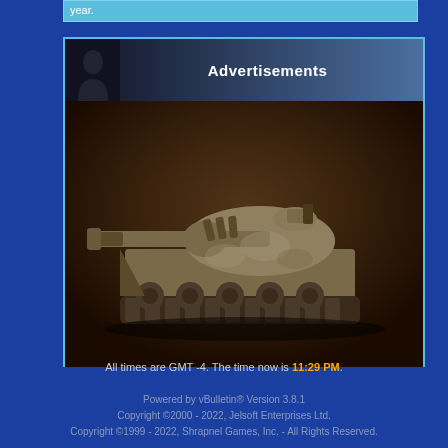year.
Advertisements
[Figure (photo): Advertisement box with a sepia-toned image of a military tank (M1 Abrams style) viewed from the front-left angle against a dark brown background.]
All times are GMT -4. The time now is 11:29 PM.
Powered by vBulletin® Version 3.8.1
Copyright ©2000 - 2022, Jelsoft Enterprises Ltd.
Copyright ©1999 - 2022, Shrapnel Games, Inc. - All Rights Reserved.